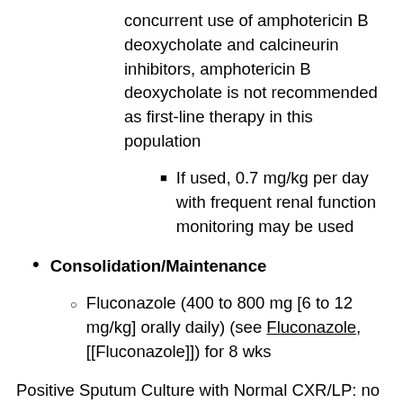concurrent use of amphotericin B deoxycholate and calcineurin inhibitors, amphotericin B deoxycholate is not recommended as first-line therapy in this population
If used, 0.7 mg/kg per day with frequent renal function monitoring may be used
Consolidation/Maintenance
Fluconazole (400 to 800 mg [6 to 12 mg/kg] orally daily) (see Fluconazole, [[Fluconazole]]) for 8 wks
Positive Sputum Culture with Normal CXR/LP: no